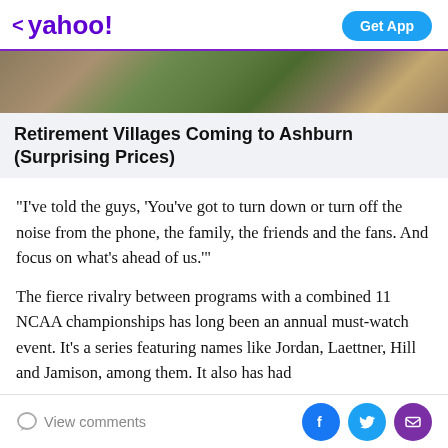< yahoo! | Get App
[Figure (photo): Photo of vegetables and greens on a surface, partially visible at top]
Retirement Villages Coming to Ashburn (Surprising Prices)
“I’ve told the guys, ‘You’ve got to turn down or turn off the noise from the phone, the family, the friends and the fans. And focus on what’s ahead of us.’”
The fierce rivalry between programs with a combined 11 NCAA championships has long been an annual must-watch event. It’s a series featuring names like Jordan, Laettner, Hill and Jamison, among them. It also has had
View comments